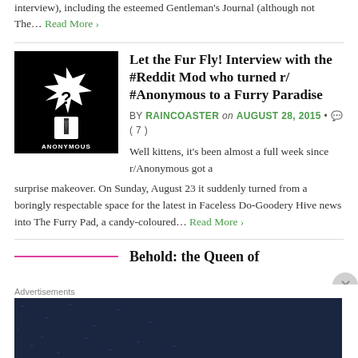interview), including the esteemed Gentleman's Journal (although not The… Read More ›
Let the Fur Fly! Interview with the #Reddit Mod who turned r/ #Anonymous to a Furry Paradise
BY RAINCOASTER on AUGUST 28, 2015 • ( 7 )
[Figure (photo): Black background image with a stylized white fox/anonymous mask figure in a suit, text ANONYMOUS at bottom]
Well kittens, it's been almost a full week since r/Anonymous got a surprise makeover. On Sunday, August 23 it suddenly turned from a boringly respectable space for the latest in Faceless Do-Goodery Hive news into The Furry Pad, a candy-coloured… Read More ›
Behold: the Queen of
[Figure (other): Advertisement banner: Create surveys, polls, quizzes, and forms. WordPress and survey logos on dark navy background.]